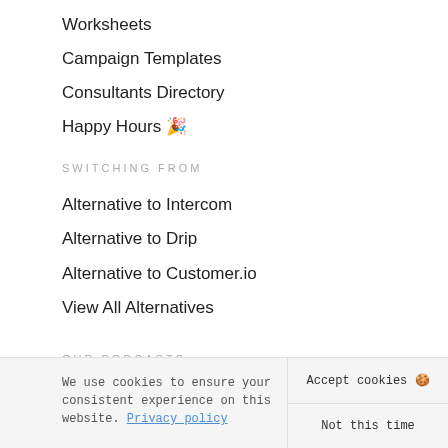Worksheets
Campaign Templates
Consultants Directory
Happy Hours 🎉
SWITCHING FROM
Alternative to Intercom
Alternative to Drip
Alternative to Customer.io
View All Alternatives
OUR PODCASTS
Better Done Than Perfect 🎙
We use cookies to ensure your consistent experience on this website. Privacy policy
Accept cookies 🍪
Not this time